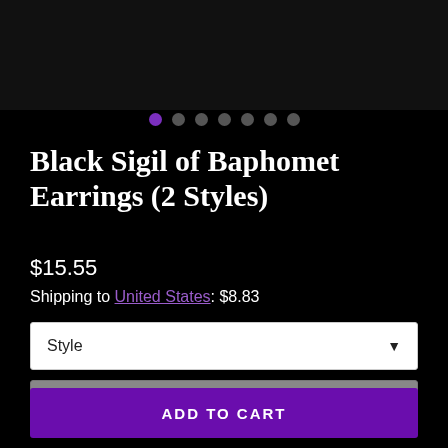[Figure (photo): Dark/black image area at the top of the product page, likely showing the earring product photo.]
Black Sigil of Baphomet Earrings (2 Styles)
$15.55
Shipping to United States: $8.83
Style
Quantity
ADD TO CART